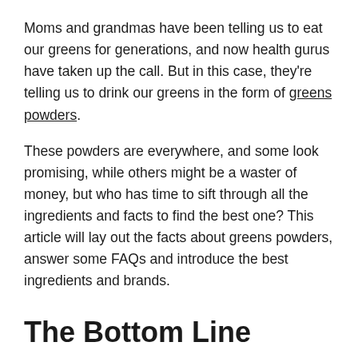Moms and grandmas have been telling us to eat our greens for generations, and now health gurus have taken up the call. But in this case, they're telling us to drink our greens in the form of greens powders.
These powders are everywhere, and some look promising, while others might be a waster of money, but who has time to sift through all the ingredients and facts to find the best one? This article will lay out the facts about greens powders, answer some FAQs and introduce the best ingredients and brands.
The Bottom Line
What are Greens Powders? Greens powders are powdered superfoods that are good for